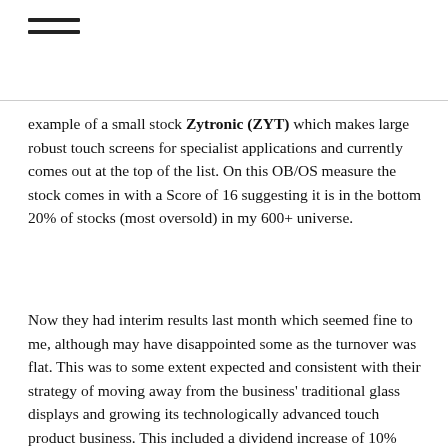≡
example of a small stock Zytronic (ZYT) which makes large robust touch screens for specialist applications and currently comes out at the top of the list. On this OB/OS measure the stock comes in with a Score of 16 suggesting it is in the bottom 20% of stocks (most oversold) in my 600+ universe.
Now they had interim results last month which seemed fine to me, although may have disappointed some as the turnover was flat. This was to some extent expected and consistent with their strategy of moving away from the business' traditional glass displays and growing its technologically advanced touch product business. This included a dividend increase of 10% which is in line with full year forecasts and I note that the earnings have been upgraded since the results giving me some confidence that the full year dividend of 13.2p will be achieved. This is